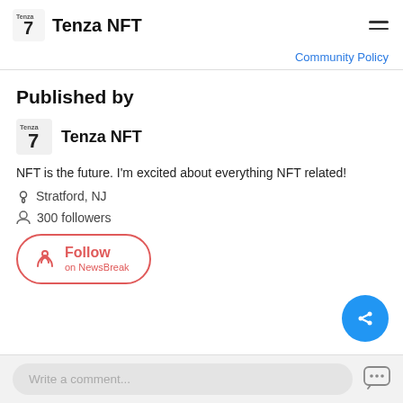Tenza NFT
Community Policy
Published by
Tenza NFT
NFT is the future. I'm excited about everything NFT related!
Stratford, NJ
300 followers
Follow on NewsBreak
Write a comment...